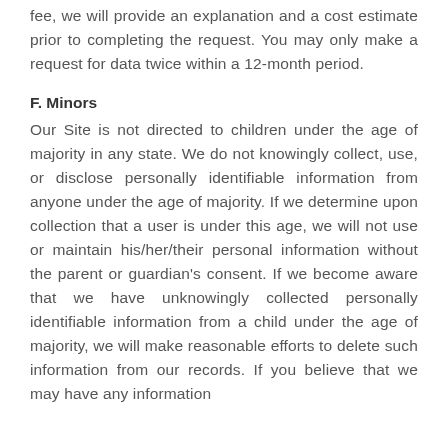fee, we will provide an explanation and a cost estimate prior to completing the request. You may only make a request for data twice within a 12-month period.
F. Minors
Our Site is not directed to children under the age of majority in any state. We do not knowingly collect, use, or disclose personally identifiable information from anyone under the age of majority. If we determine upon collection that a user is under this age, we will not use or maintain his/her/their personal information without the parent or guardian's consent. If we become aware that we have unknowingly collected personally identifiable information from a child under the age of majority, we will make reasonable efforts to delete such information from our records. If you believe that we may have any information